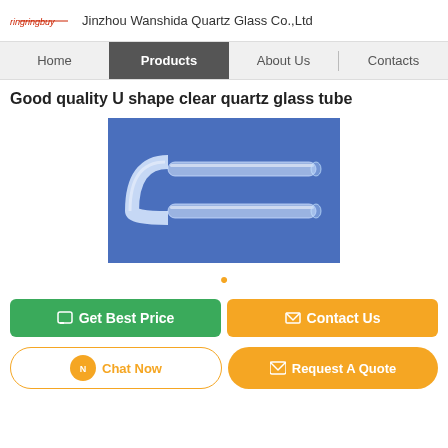Jinzhou Wanshida Quartz Glass Co.,Ltd
Home | Products | About Us | Contacts
Good quality U shape clear quartz glass tube
[Figure (photo): A clear U-shaped quartz glass tube photographed against a blue background.]
• (dot indicator)
Get Best Price
Contact Us
Chat Now
Request A Quote